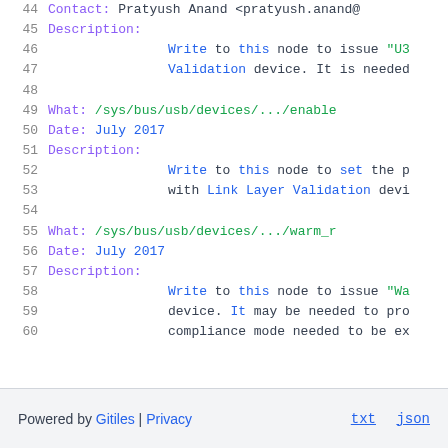44  Contact:   Pratyush Anand <pratyush.anand@
45  Description:
46              Write to this node to issue "U3
47              Validation device. It is needed
48
49  What:       /sys/bus/usb/devices/.../enable
50  Date:       July 2017
51  Description:
52              Write to this node to set the p
53              with Link Layer Validation devi
54
55  What:       /sys/bus/usb/devices/.../warm_r
56  Date:       July 2017
57  Description:
58              Write to this node to issue "Wa
59              device. It may be needed to pro
60              compliance mode needed to be ex
Powered by Gitiles | Privacy    txt  json